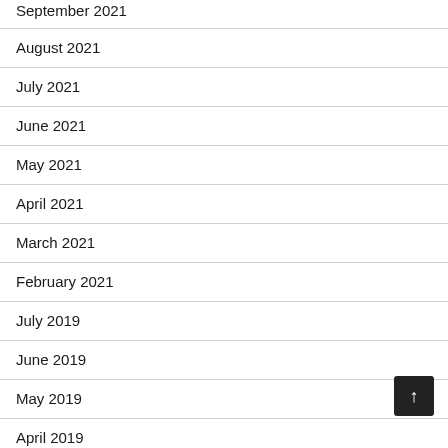September 2021
August 2021
July 2021
June 2021
May 2021
April 2021
March 2021
February 2021
July 2019
June 2019
May 2019
April 2019
March 2019
February 2019